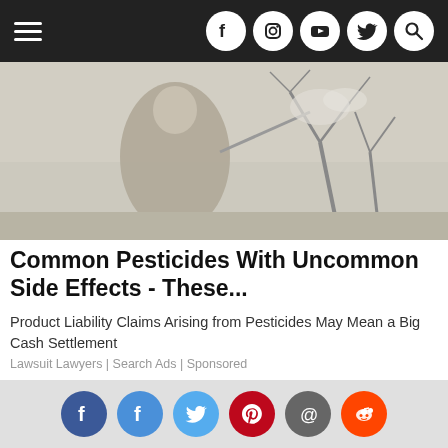Navigation bar with hamburger menu and social icons (Facebook, Instagram, YouTube, Twitter, Search)
[Figure (photo): Person spraying pesticides in an orchard or field, black and white / desaturated tone]
Common Pesticides With Uncommon Side Effects - These...
Product Liability Claims Arising from Pesticides May Mean a Big Cash Settlement
Lawsuit Lawyers | Search Ads | Sponsored
[Figure (photo): Stacks of bundled US $100 dollar bills banded with $10000 wrappers]
Social share icons: Facebook (dark), Facebook (light), Twitter, Pinterest, Email, Reddit